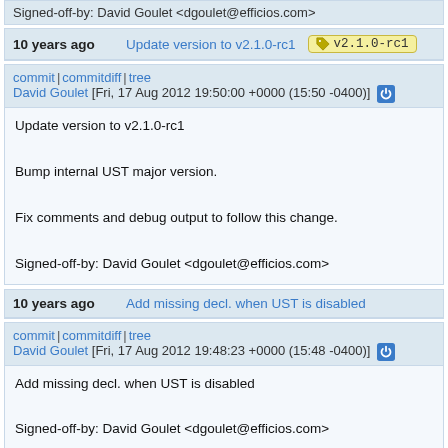Signed-off-by: David Goulet <dgoulet@efficios.com>
10 years ago  Update version to v2.1.0-rc1  v2.1.0-rc1
commit | commitdiff | tree
David Goulet [Fri, 17 Aug 2012 19:50:00 +0000 (15:50 -0400)]
Update version to v2.1.0-rc1

Bump internal UST major version.

Fix comments and debug output to follow this change.

Signed-off-by: David Goulet <dgoulet@efficios.com>
10 years ago  Add missing decl. when UST is disabled
commit | commitdiff | tree
David Goulet [Fri, 17 Aug 2012 19:48:23 +0000 (15:48 -0400)]
Add missing decl. when UST is disabled

Signed-off-by: David Goulet <dgoulet@efficios.com>